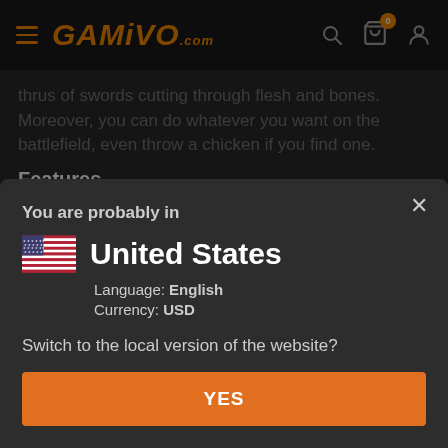GAMIVO.com
thrus of swords cutting through flesh and bones. Moreover, you can do whatever you want on the battlefield, even throw a chicken if you find one.
Features
Engaging combat system with new moves
You are probably in
United States
Language: English
Currency: USD
Switch to the local version of the website?
YES